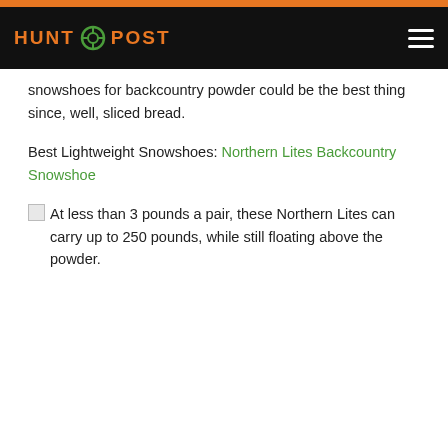HUNT POST
snowshoes for backcountry powder could be the best thing since, well, sliced bread.
Best Lightweight Snowshoes: Northern Lites Backcountry Snowshoe
At less than 3 pounds a pair, these Northern Lites can carry up to 250 pounds, while still floating above the powder.